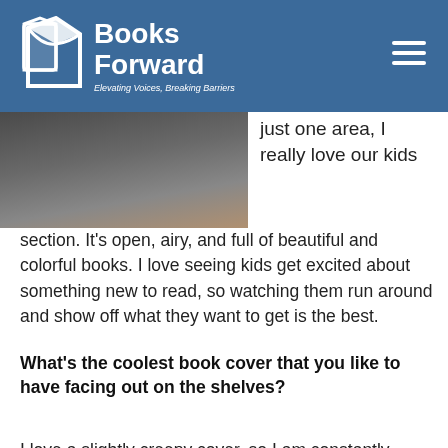Books Forward — Elevating Voices, Breaking Barriers
[Figure (photo): Partial photo of a person in a dark sweater, possibly in a bookstore setting]
just one area, I really love our kids section. It's open, airy, and full of beautiful and colorful books. I love seeing kids get excited about something new to read, so watching them run around and show off what they want to get is the best.
What's the coolest book cover that you like to have facing out on the shelves?
I love a slightly creepy cover, so I am constantly falling in love with beautiful, oversized, stylized nonfiction books like Gothic and Memento Mori: The Dead Among Us. There's just something really cool about books that feel like art in every part of them and...